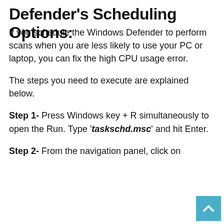Defender's Scheduling Options:
If you schedule the Windows Defender to perform scans when you are less likely to use your PC or laptop, you can fix the high CPU usage error.
The steps you need to execute are explained below.
Step 1- Press Windows key + R simultaneously to open the Run. Type 'taskschd.msc' and hit Enter.
Step 2- From the navigation panel, click on